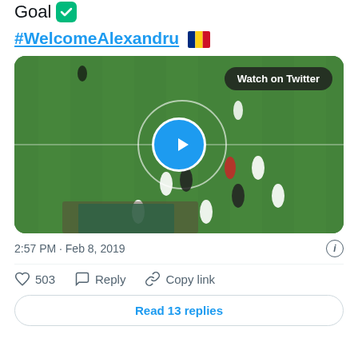Goal ✅
#WelcomeAlexandru 🇷🇴
[Figure (screenshot): Soccer/football match video thumbnail showing players on a green field, with a 'Watch on Twitter' button overlay and a blue play button in the center.]
2:57 PM · Feb 8, 2019
503  Reply  Copy link
Read 13 replies